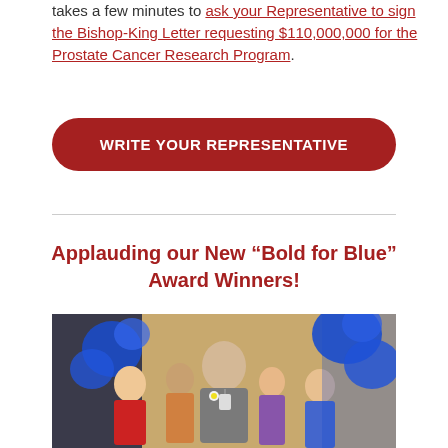takes a few minutes to ask your Representative to sign the Bishop-King Letter requesting $110,000,000 for the Prostate Cancer Research Program.
[Figure (other): Red rounded rectangle button with white bold text reading WRITE YOUR REPRESENTATIVE]
Applauding our New “Bold for Blue” Award Winners!
[Figure (photo): Photo of a man smiling in a crowd of people holding blue pom-poms and celebrating, at an indoor venue with blue decorations.]